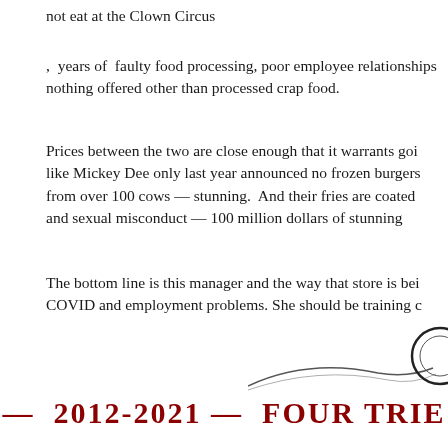not eat at the Clown Circus
,  years of  faulty food processing, poor employee relationships nothing offered other than processed crap food.
Prices between the two are close enough that it warrants going like Mickey Dee only last year announced no frozen burgers from over 100 cows — stunning.  And their fries are coated and sexual misconduct — 100 million dollars of stunning
The bottom line is this manager and the way that store is being COVID and employment problems. She should be training c
[Figure (logo): Decorative swoosh/logo graphic with a circular element at the right edge]
—  2012-2021 —  FOUR TRIE